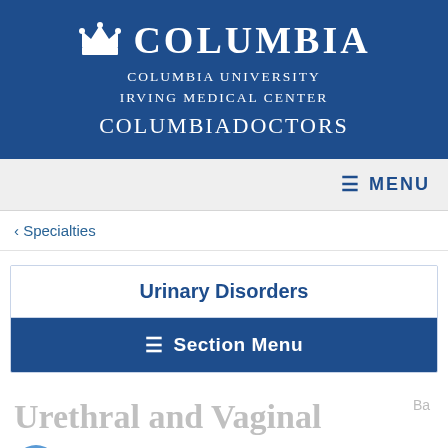[Figure (logo): Columbia University Irving Medical Center / ColumbiaDoctors logo with crown icon on dark blue background]
MENU
< Specialties
Urinary Disorders
≡ Section Menu
Urethral and Vaginal